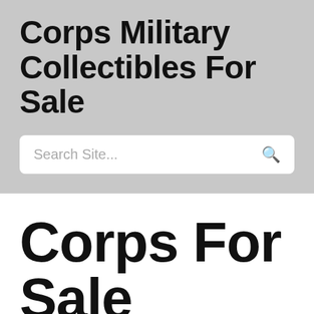Corps Military Collectibles For Sale
Search Site...
Corps For Sale